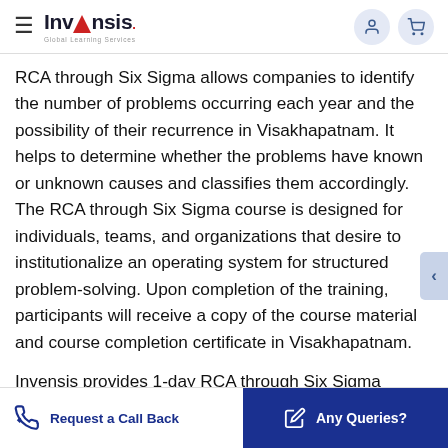Invensis Global Learning Services
RCA through Six Sigma allows companies to identify the number of problems occurring each year and the possibility of their recurrence in Visakhapatnam. It helps to determine whether the problems have known or unknown causes and classifies them accordingly. The RCA through Six Sigma course is designed for individuals, teams, and organizations that desire to institutionalize an operating system for structured problem-solving. Upon completion of the training, participants will receive a copy of the course material and course completion certificate in Visakhapatnam.
Invensis provides 1-day RCA through Six Sigma Training in Visakhapatnam. Participants attending this RCA through Six Sigma course will learn...
Request a Call Back | Any Queries?